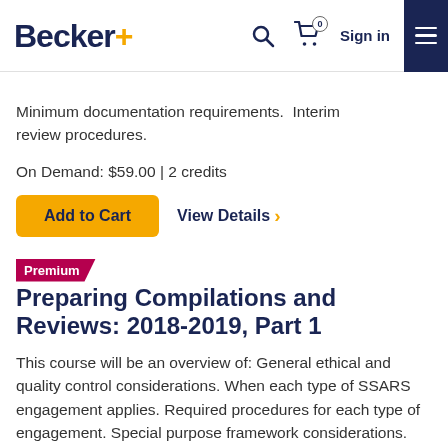Becker. [search icon] [cart icon with 0] Sign in [menu]
Minimum documentation requirements.  Interim review procedures.
On Demand: $59.00 | 2 credits
Add to Cart   View Details >
Premium
Preparing Compilations and Reviews: 2018-2019, Part 1
This course will be an overview of: General ethical and quality control considerations. When each type of SSARS engagement applies. Required procedures for each type of engagement. Special purpose framework considerations. Reporting and